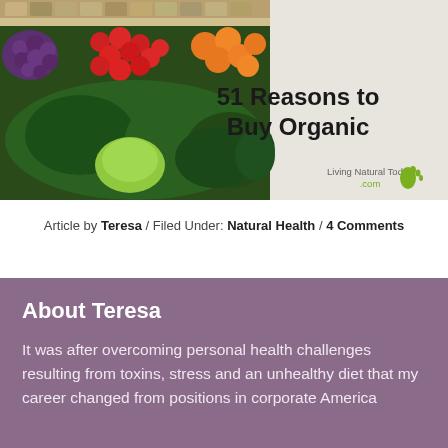[Figure (illustration): Banner image showing colorful organic vegetables and produce at a market display, with text overlay reading '51 Reasons to Buy Organic' and 'Living Natural Today .com' branding on the right side.]
Article by Teresa / Filed Under: Natural Health / 4 Comments
About Teresa
It was after overcoming personal health challenges resulting from toxins, stress and an unhealthy diet that my career changed from positions in corporate America